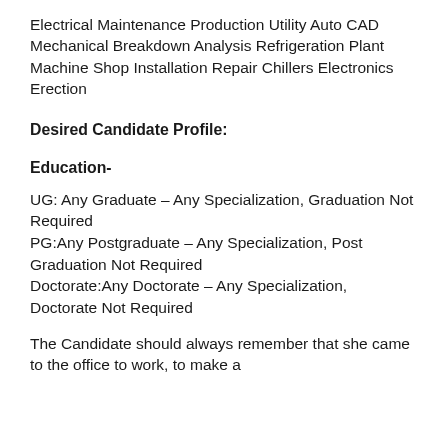Electrical Maintenance Production Utility Auto CAD Mechanical Breakdown Analysis Refrigeration Plant Machine Shop Installation Repair Chillers Electronics Erection
Desired Candidate Profile:
Education-
UG: Any Graduate – Any Specialization, Graduation Not Required PG:Any Postgraduate – Any Specialization, Post Graduation Not Required Doctorate:Any Doctorate – Any Specialization, Doctorate Not Required
The Candidate should always remember that she came to the office to work, to make a